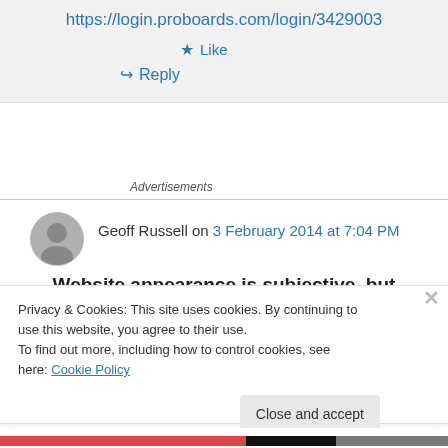https://login.proboards.com/login/3429003
★ Like
↪ Reply
Advertisements
Geoff Russell on 3 February 2014 at 7:04 PM
Website appearance is subjective, but some
Privacy & Cookies: This site uses cookies. By continuing to use this website, you agree to their use.
To find out more, including how to control cookies, see here: Cookie Policy
Close and accept